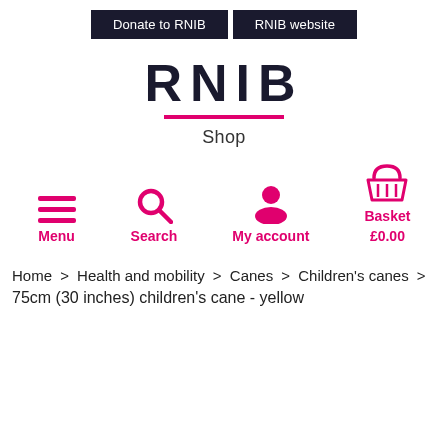Donate to RNIB | RNIB website
RNIB
Shop
[Figure (infographic): Navigation icons: Menu (hamburger), Search (magnifying glass), My account (person silhouette), Basket £0.00 (shopping basket). All icons and labels in pink/magenta.]
Home > Health and mobility > Canes > Children's canes > 75cm (30 inches) children's cane - yellow